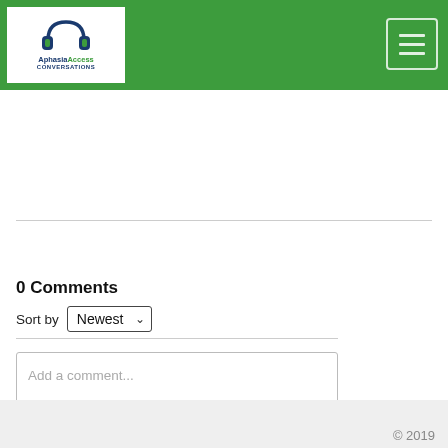Aphasia Access Conversations
0 Comments
Sort by Newest
Add a comment...
Facebook Comments Plugin
© 2019